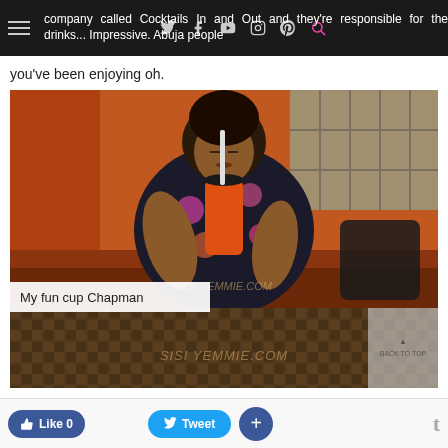company called Cocktails In and Out and they're responsible for the drinks... Impressive. Abuja people you've been enjoying oh.
[Figure (photo): A woman sitting on an orange sofa bench drinking from a large orange fun cup with a straw, wearing a black floral dress.]
My fun cup Chapman
[Figure (photo): Close-up blurred photo of a wicker/rattan table surface with a watermark reading SISI YEMMIE.COM]
Like 0  Tweet  +  t